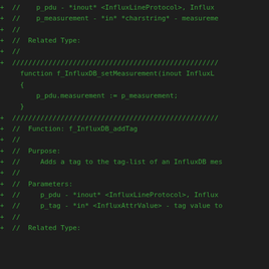+ //    p_pdu - *inout* <InfluxLineProtocol>, Influx
+ //    p_measurement - *in* *charstring* - measureme
+ //
+ //  Related Type:
+ //
+ //  ///////////////////////////////////////////
    function f_InfluxDB_setMeasurement(inout InfluxL
    {
        p_pdu.measurement := p_measurement;
    }


+ //  ///////////////////////////////////////////
+ //  Function: f_InfluxDB_addTag
+ //
+ //  Purpose:
+ //     Adds a tag to the tag-list of an InfluxDB mes
+ //
+ //  Parameters:
+ //     p_pdu - *inout* <InfluxLineProtocol>, Influx
+ //     p_tag - *in* <InfluxAttrValue> - tag value to
+ //
+ //  Related Type: